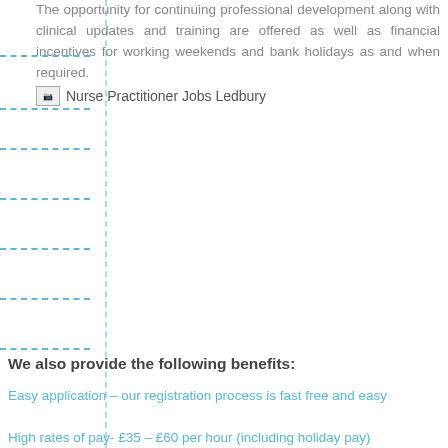The opportunity for continuing professional development along with clinical updates and training are offered as well as financial incentives for working weekends and bank holidays as and when required.
[Figure (illustration): Broken image placeholder for 'Nurse Practitioner Jobs Ledbury']
We also provide the following benefits:
Easy application – our registration process is fast free and easy
High rates of pay- £35 – £60 per hour (including holiday pay)